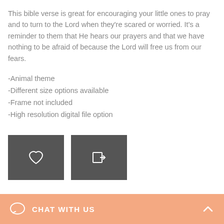This bible verse is great for encouraging your little ones to pray and to turn to the Lord when they're scared or worried. It's a reminder to them that He hears our prayers and that we have nothing to be afraid of because the Lord will free us from our fears.
-Animal theme
-Different size options available
-Frame not included
-High resolution digital file option
[Figure (other): Two dark square buttons: one with a heart icon, one with an arrow-into-box (share/login) icon]
CHAT WITH US